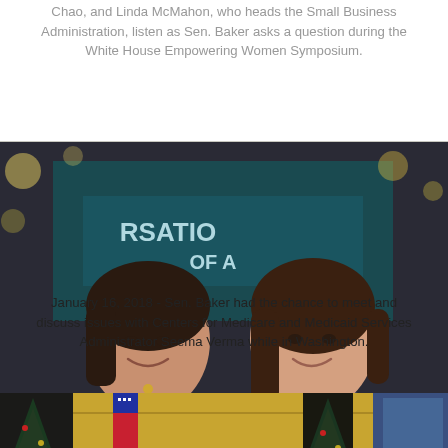Chao, and Linda McMahon, who heads the Small Business Administration, listen as Sen. Baker asks a question during the White House Empowering Women Symposium.
[Figure (photo): Two women posing together for a selfie-style photo in front of a sign that reads 'RSATION OF A' with partially visible text. The woman on the left is wearing a red top and a pendant necklace; the woman on the right has long brown hair and is wearing a patterned jacket.]
January 16, 2018 - Sen. Baker had the chance to meet and discuss issues with Centers for Medicare and Medicaid Services Administrator Seema Verma while in Washington.
[Figure (photo): Two people standing in an ornate interior room with American flags, Christmas trees, and decorative elements visible in the background.]